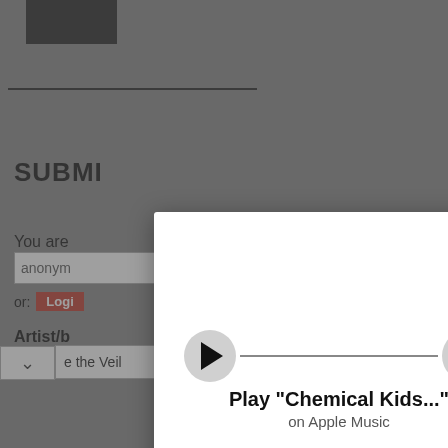[Figure (screenshot): Background webpage showing a music submission form with greyed overlay. Visible elements include a top image, horizontal rule, SUBMIT heading, 'You are' label with anonymous input, 'or: Login' button, 'Artist/b' label, and artist input field showing 'e the Veil'.]
[Figure (screenshot): Modal dialog with white background showing Apple Music player. Contains play button (circle with triangle), progress bar line, volume button (circle with speaker icon), song title 'Play "Chemical Kids..."', and subtitle 'on Apple Music'. Close button (black circle with X) in top-right corner.]
Play "Chemical Kids..."
on Apple Music
Back To School Essentials
Leesburg Premium Outlets